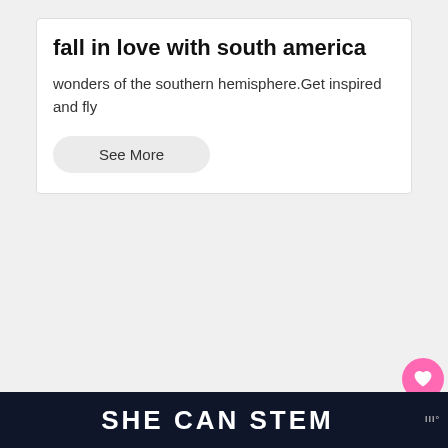Ad
fall in love with south america
wonders of the southern hemisphere.Get inspired and fly
See More
[Figure (screenshot): Pink heart/favorite button (circular, pink background)]
[Figure (screenshot): Share button (circular, white background with share icon)]
[Figure (infographic): WHAT'S NEXT → The Best Things To D... panel with thumbnail]
[Figure (photo): Climbing wall with colorful holds shown in multiple panels]
SHE CAN STEM